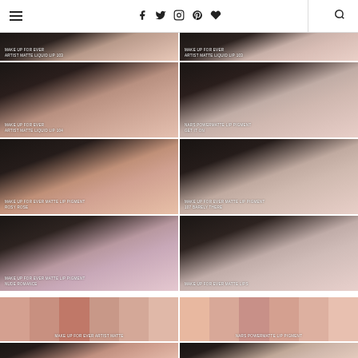Navigation header with menu, social icons (Facebook, Twitter, Instagram, Pinterest, Heart), and search icon
[Figure (photo): Grid of 8 close-up lip swatch photos on a woman's face showing different lipstick shades. Top row: Make Up For Ever Artist Matte Liquid Lip 103 (left), Make Up For Ever Artist Matte Liquid Lip 103 (right). Second row: Make Up For Ever Artist Matte Liquid Lip 104 (left), ColourPop powdermatte (right). Third row: Make Up For Ever Matte lip pigment rosy rose (left), Make Up For Ever Matte liquid lip pigment Barely There (right). Fourth row: Make Up For Ever Matte lip pigment Nude Romance (left), Make Up For Ever Matte Lips (right). Bottom partial row shows swatch strips: Make Up For Ever Artist Matte and NARS Powermatte lip pigment]